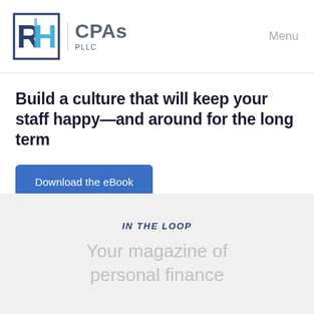RH CPAs PLLC | Menu
Build a culture that will keep your staff happy—and around for the long term
Download the eBook
IN THE LOOP
Your magazine of personal finance